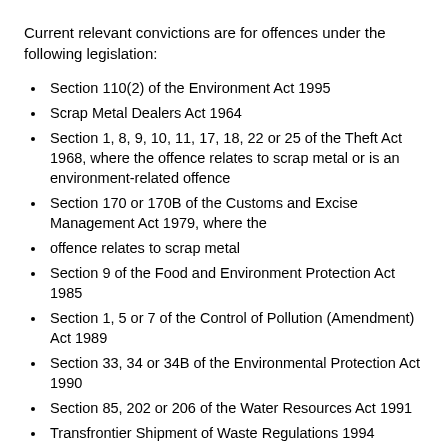Current relevant convictions are for offences under the following legislation:
Section 110(2) of the Environment Act 1995
Scrap Metal Dealers Act 1964
Section 1, 8, 9, 10, 11, 17, 18, 22 or 25 of the Theft Act 1968, where the offence relates to scrap metal or is an environment-related offence
Section 170 or 170B of the Customs and Excise Management Act 1979, where the
offence relates to scrap metal
Section 9 of the Food and Environment Protection Act 1985
Section 1, 5 or 7 of the Control of Pollution (Amendment) Act 1989
Section 33, 34 or 34B of the Environmental Protection Act 1990
Section 85, 202 or 206 of the Water Resources Act 1991
Transfrontier Shipment of Waste Regulations 1994
Section 110 of the Environment Act 1995